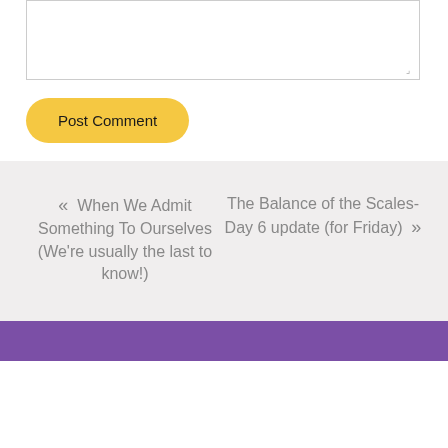[Figure (screenshot): Textarea input box for writing a comment, with resize handle in bottom-right corner]
Post Comment
« When We Admit Something To Ourselves (We're usually the last to know!)
The Balance of the Scales- Day 6 update (for Friday) »
Purple footer bar